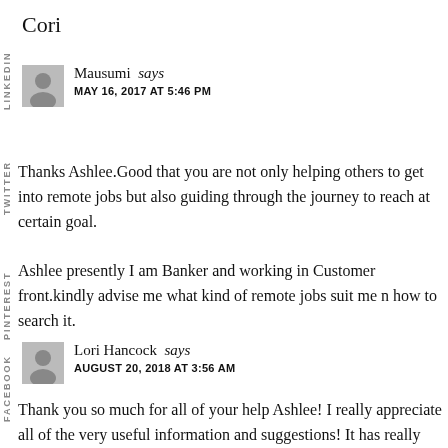Cori
Mausumi says
MAY 16, 2017 AT 5:46 PM
Thanks Ashlee.Good that you are not only helping others to get into remote jobs but also guiding through the journey to reach at certain goal.
Ashlee presently I am Banker and working in Customer front.kindly advise me what kind of remote jobs suit me n how to search it.
Lori Hancock says
AUGUST 20, 2018 AT 3:56 AM
Thank you so much for all of your help Ashlee! I really appreciate all of the very useful information and suggestions! It has really helped me so much in my